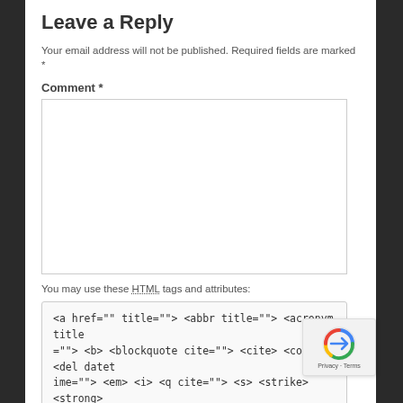Leave a Reply
Your email address will not be published. Required fields are marked *
Comment *
You may use these HTML tags and attributes:
<a href="" title=""> <abbr title=""> <acronym title=""> <b> <blockquote cite=""> <cite> <code> <del datetime=""> <em> <i> <q cite=""> <s> <strike> <strong>
Name *
Email *